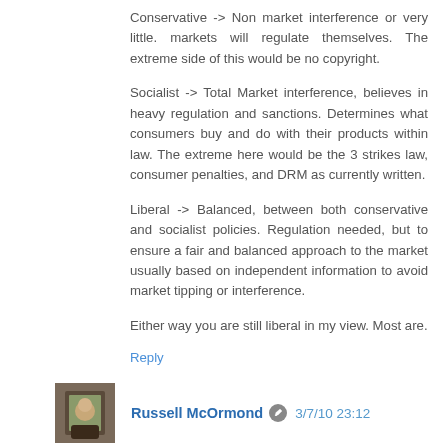Conservative -> Non market interference or very little. markets will regulate themselves. The extreme side of this would be no copyright.
Socialist -> Total Market interference, believes in heavy regulation and sanctions. Determines what consumers buy and do with their products within law. The extreme here would be the 3 strikes law, consumer penalties, and DRM as currently written.
Liberal -> Balanced, between both conservative and socialist policies. Regulation needed, but to ensure a fair and balanced approach to the market usually based on independent information to avoid market tipping or interference.
Either way you are still liberal in my view. Most are.
Reply
Russell McOrmond 3/7/10 23:12